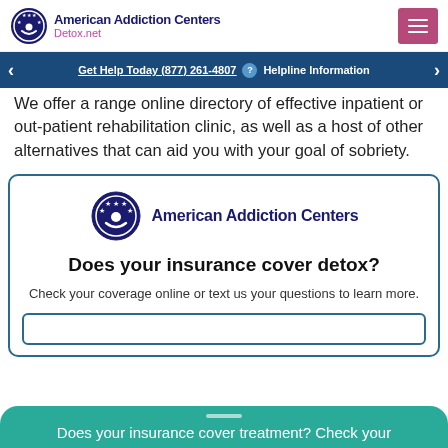American Addiction Centers Detox.net
Get Help Today (877) 261-4807  Helpline Information
We offer a range online directory of effective inpatient or out-patient rehabilitation clinic, as well as a host of other alternatives that can aid you with your goal of sobriety.
[Figure (logo): American Addiction Centers logo with circular emblem]
Does your insurance cover detox?
Check your coverage online or text us your questions to learn more.
Does your insurance cover treatment? Check your